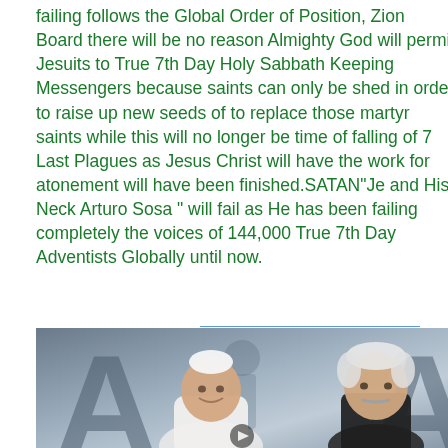failing follows the Global Order of Position, Zion Board there will be no reason Almighty God will permit Jesuits to True 7th Day Holy Sabbath Keeping Messengers because saints can only be shed in order to raise up new seeds of to replace those martyr saints while this will no longer be time of falling of 7 Last Plagues as Jesus Christ will have the work for atonement will have been finished.SATAN"Je and His Neck Arturo Sosa " will fail as He has been failing completely the voices of 144,000 True 7th Day Adventists Globally until now.
[Figure (photo): Photograph of two men, one appearing to be Pope Francis in white papal vestments on the left smiling, and an older man with white hair and mustache on the right, against a backdrop with large letter 'A' logos. A play button icon is visible at the bottom center.]